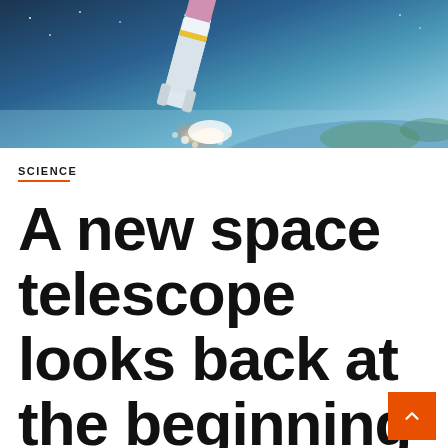[Figure (photo): A rocket launching into space with Earth visible below, bright exhaust and light visible during ascent against the atmosphere and dark space.]
SCIENCE
A new space telescope looks back at the beginning of time – or a little